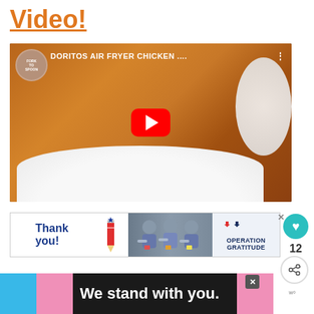Video!
[Figure (screenshot): YouTube video thumbnail showing Doritos Air Fryer Chicken with a red play button in the center. Title reads 'DORITOS AIR FRYER CHICKEN ....' with Fork to Spoon logo circle on the left.]
[Figure (other): Advertisement banner: 'Thank you!' text with American flag pencil graphic, photo of three masked people holding items, and Operation Gratitude logo with flag graphic. X close button on right.]
[Figure (other): Bottom advertisement bar with blue and pink stripes reading 'We stand with you.' with close X button and weather widget icon on right.]